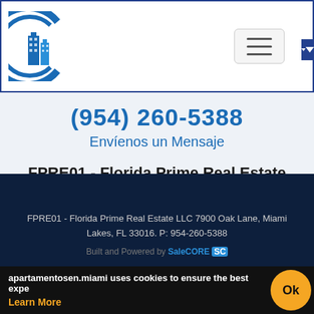[Figure (logo): Florida Prime Real Estate LLC logo with building and circular design in blue]
(954) 260-5388
Envíenos un Mensaje
FPRE01 - Florida Prime Real Estate LLC
7900 Oak Lane
Miami Lakes, FL 33016
FPRE01 - Florida Prime Real Estate LLC 7900 Oak Lane, Miami Lakes, FL 33016. P: 954-260-5388
Built and Powered by SaleCORE SC
apartamentosen.miami uses cookies to ensure the best expe
Learn More